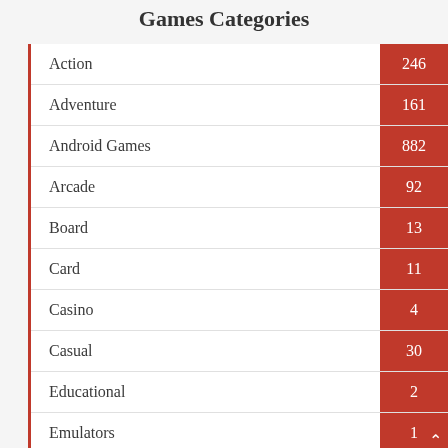Games Categories
| Category | Count |
| --- | --- |
| Action | 246 |
| Adventure | 161 |
| Android Games | 882 |
| Arcade | 92 |
| Board | 13 |
| Card | 11 |
| Casino | 4 |
| Casual | 30 |
| Educational | 2 |
| Emulators | 1 |